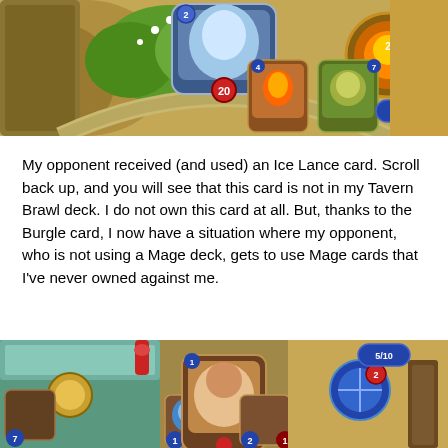[Figure (screenshot): Hearthstone game screenshot showing the opponent's side of the board with cards in hand, including an Ice Lance card with mana cost 4 and another card with mana cost 7, a large minion in the center with '20' health, and a deck counter showing 0/9.]
My opponent received (and used) an Ice Lance card.  Scroll back up, and you will see that this card is not in my Tavern Brawl deck.  I do not own this card at all.  But, thanks to the Burgle card, I now have a situation where my opponent, who is not using a Mage deck, gets to use Mage cards that I've never owned against me.
[Figure (screenshot): Hearthstone game screenshot showing the player's side of the board with a minion with attack 7 on the left, cards in the center area including minions with stats 1/2 and 2/1, a hero card in the center, and a minion with attack 2 on the right, with a deck counter showing 5/10.]